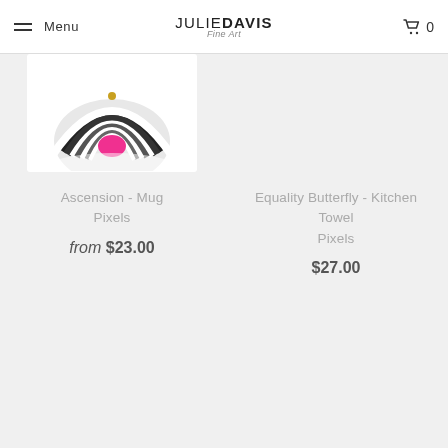Menu | JULIEDAVIS Fine Art | 🛒 0
[Figure (photo): Partial view of a mug with black and white swirl pattern and pink center design]
Ascension - Mug
Pixels
from $23.00
Equality Butterfly - Kitchen Towel
Pixels
$27.00
The Wolves Within - Kitchen Towel
Pixels